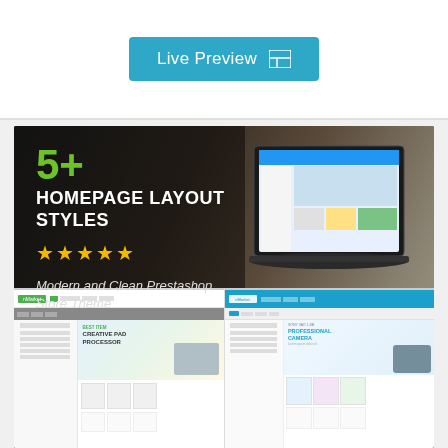[Figure (screenshot): Live Preview button with teal background and grid icon]
[Figure (photo): Marketing banner showing a woman using a laptop, with text '5+ HOMEPAGE LAYOUT STYLES', five gold stars, and tagline 'Modern and Clean Prestashop Store Theme', plus two e-commerce website screenshots at the bottom]